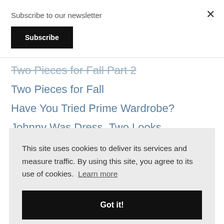Subscribe to our newsletter
Subscribe
×
Two Pieces for Fall Part 2
Two Pieces for Fall
Have You Tried Prime Wardrobe?
Johnny Was Dress, Two Looks
This site uses cookies to deliver its services and measure traffic. By using this site, you agree to its use of cookies. Learn more
Got it!
New Arrivals from Cozy Earth